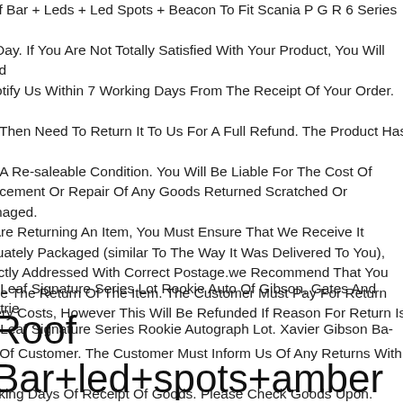Roof Bar + Leds + Led Spots + Beacon To Fit Scania P G R 6 Series 09+ ow Day. If You Are Not Totally Satisfied With Your Product, You Will Need o Notify Us Within 7 Working Days From The Receipt Of Your Order. You Will Then Need To Return It To Us For A Full Refund. The Product Has To e In A Re-saleable Condition. You Will Be Liable For The Cost Of eplacement Or Repair Of Any Goods Returned Scratched Or Damaged. ou Are Returning An Item, You Must Ensure That We Receive It dequately Packaged (similar To The Way It Was Delivered To You), orrectly Addressed With Correct Postage.we Recommend That You nsure The Return Of The Item. The Customer Must Pay For Return elivery Costs, However This Will Be Refunded If Reason For Return Is N ault Of Customer. The Customer Must Inform Us Of Any Returns Within 7 Working Days Of Receipt Of Goods. Please Check Goods Upon.
012 Leaf Signature Series Lot Rookie Auto Of Gibson, Gates And Moutrie 012 Leaf Signature Series Rookie Autograph Lot. Xavier Gibson Ba-xg1.
Roof Bar+led+spots+amber Beacon To Fit Scania New 17+ Rs Series Normal Cab Black